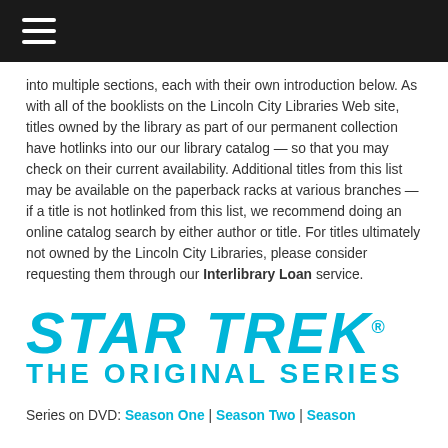☰
into multiple sections, each with their own introduction below. As with all of the booklists on the Lincoln City Libraries Web site, titles owned by the library as part of our permanent collection have hotlinks into our our library catalog — so that you may check on their current availability. Additional titles from this list may be available on the paperback racks at various branches — if a title is not hotlinked from this list, we recommend doing an online catalog search by either author or title. For titles ultimately not owned by the Lincoln City Libraries, please consider requesting them through our Interlibrary Loan service.
[Figure (logo): Star Trek The Original Series logo in cyan/teal color, italic bold text]
Series on DVD: Season One | Season Two | Season